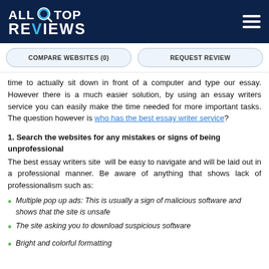ALL TOP REVIEWS
COMPARE WEBSITES (0)   REQUEST REVIEW
time to actually sit down in front of a computer and type our essay. However there is a much easier solution, by using an essay writers service you can easily make the time needed for more important tasks. The question however is who has the best essay writer service?
1. Search the websites for any mistakes or signs of being unprofessional
The best essay writers site  will be easy to navigate and will be laid out in a professional manner. Be aware of anything that shows lack of professionalism such as:
Multiple pop up ads: This is usually a sign of malicious software and shows that the site is unsafe
The site asking you to download suspicious software
Bright and colorful formatting